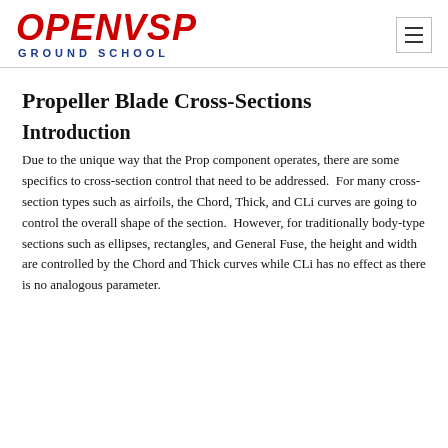OpenVSP Ground School
Propeller Blade Cross-Sections
Introduction
Due to the unique way that the Prop component operates, there are some specifics to cross-section control that need to be addressed.  For many cross-section types such as airfoils, the Chord, Thick, and CLi curves are going to control the overall shape of the section.  However, for traditionally body-type sections such as ellipses, rectangles, and General Fuse, the height and width are controlled by the Chord and Thick curves while CLi has no effect as there is no analogous parameter.